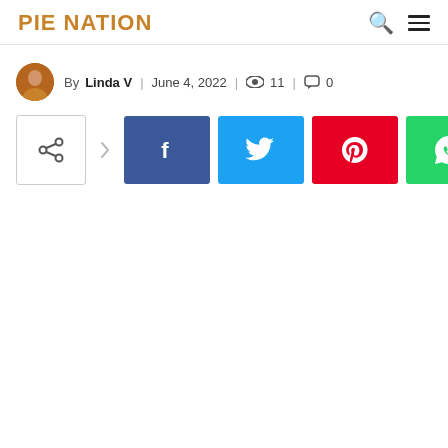PIE NATION
By Linda V | June 4, 2022 | 11 | 0
[Figure (other): Social share buttons: share, Facebook, Twitter, Pinterest, WhatsApp]